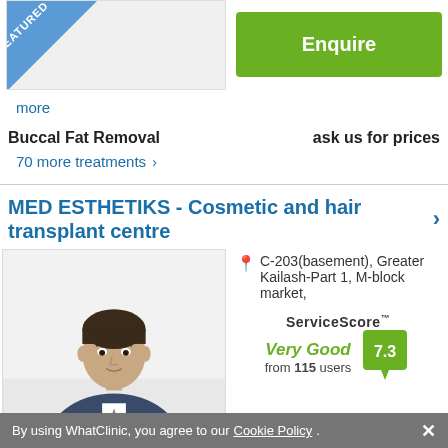[Figure (photo): Featured clinic photo placeholder with blue FEATURED banner in top-left corner]
[Figure (other): Green Enquire button]
more
Buccal Fat Removal    ask us for prices
70 more treatments >
MED ESTHETIKS - Cosmetic and hair transplant centre
[Figure (photo): Doctor headshot photo - man in suit]
C-203(basement), Greater Kailash-Part 1, M-block market,
ServiceScore™ Very Good 7.3 from 115 users
By using WhatClinic, you agree to our Cookie Policy.